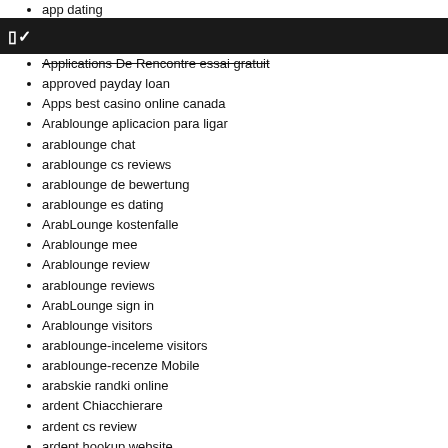app dating
app di incontri costi
C~
Applications De Rencontre essai gratuit
approved payday loan
Apps best casino online canada
Arablounge aplicacion para ligar
arablounge chat
arablounge cs reviews
arablounge de bewertung
arablounge es dating
ArabLounge kostenfalle
Arablounge mee
Arablounge review
arablounge reviews
ArabLounge sign in
Arablounge visitors
arablounge-inceleme visitors
arablounge-recenze Mobile
arabskie randki online
ardent Chiacchierare
ardent cs review
ardent hookup website
ardent login
ardent review